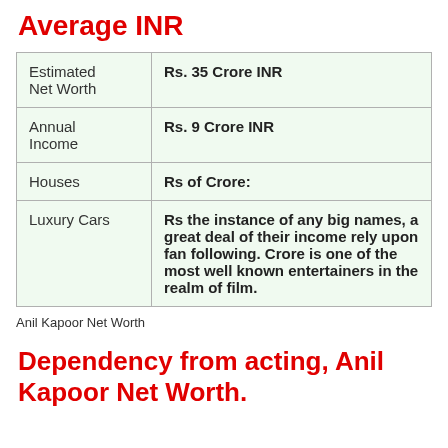Average INR
| Estimated Net Worth | Rs. 35 Crore INR |
| Annual Income | Rs. 9 Crore INR |
| Houses | Rs of Crore: |
| Luxury Cars | Rs the instance of any big names, a great deal of their income rely upon fan following. Crore is one of the most well known entertainers in the realm of film. |
Anil Kapoor Net Worth
Dependency from acting, Anil Kapoor Net Worth.